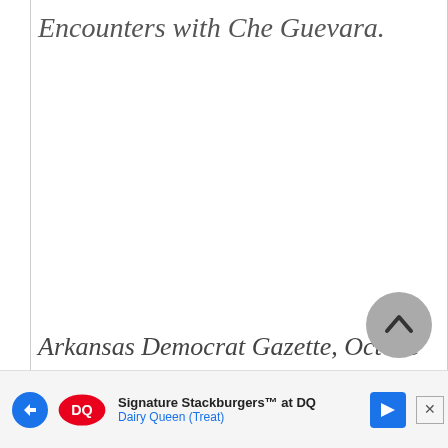Encounters with Che Guevara.
Arkansas Democrat Gazette, October 15, 2006. Sarah E. White, "Gritty Sto...
[Figure (other): Dairy Queen advertisement banner at bottom of page showing 'Signature Stackburgers at DQ' with Dairy Queen Treat logo and navigation arrow icon]